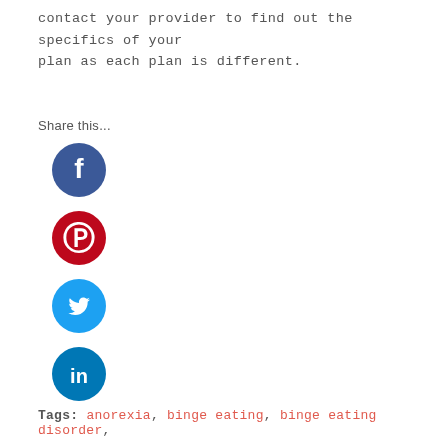contact your provider to find out the specifics of your plan as each plan is different.
Share this...
[Figure (illustration): Social media sharing icons: Facebook (blue circle with 'f'), Pinterest (red circle with 'P'), Twitter (light blue circle with bird), LinkedIn (dark blue circle with 'in')]
Tags: anorexia, binge eating, binge eating disorder,